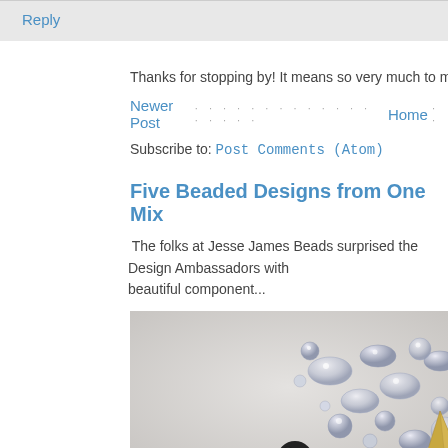Reply
Thanks for stopping by! It means so very much to me. I love to hear what
Newer Post · · · · · · · · · · · · · · · · · · · Home · ·
Subscribe to: Post Comments (Atom)
Five Beaded Designs from One Mix
The folks at Jesse James Beads surprised the Design Ambassadors with beautiful component...
[Figure (photo): Close-up photo of crystal/rhinestone beaded jewelry pieces on a light background, with what appears to be a metallic cone-shaped finding visible.]